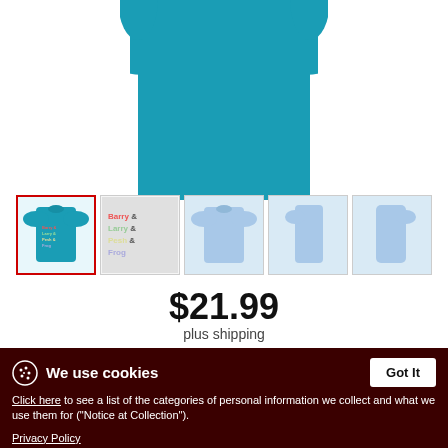[Figure (photo): Teal/turquoise t-shirt product photo, showing the front torso area of the shirt, cropped at the top]
[Figure (photo): Thumbnail 1 (active/selected): Teal t-shirt with colorful text 'Barry & Larry & Pesh & Frog']
[Figure (photo): Thumbnail 2: Design preview showing text 'Barry & Larry & Pesh & Frog' on light background]
[Figure (photo): Thumbnail 3: Light blue t-shirt front view]
[Figure (photo): Thumbnail 4: Light blue t-shirt side view]
[Figure (photo): Thumbnail 5: Light blue t-shirt back/side view]
$21.99
plus shipping
We use cookies
Got It
Click here to see a list of the categories of personal information we collect and what we use them for ("Notice at Collection").
Privacy Policy
Do Not Sell My Personal Information
By using this website, I agree to the Terms and Conditions